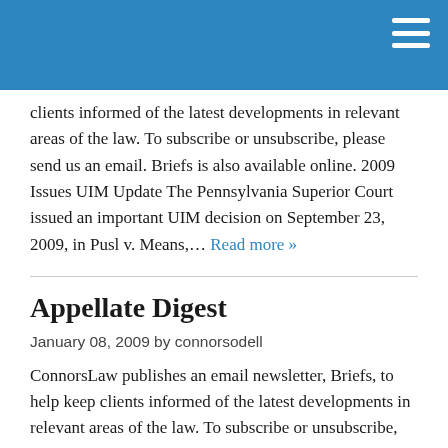clients informed of the latest developments in relevant areas of the law. To subscribe or unsubscribe, please send us an email. Briefs is also available online. 2009 Issues UIM Update The Pennsylvania Superior Court issued an important UIM decision on September 23, 2009, in Pusl v. Means,... Read more »
Appellate Digest
January 08, 2009 by connorsodell
ConnorsLaw publishes an email newsletter, Briefs, to help keep clients informed of the latest developments in relevant areas of the law. To subscribe or unsubscribe, please send us an email.